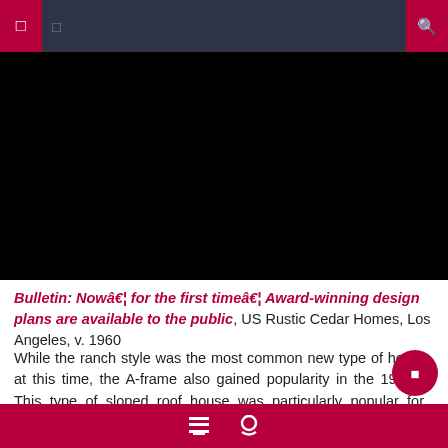Navigation bar with menu and search icons
[Figure (photo): Black video/image area, likely a video player placeholder]
Bulletin: Now… for the first time… Award-winning design plans are available to the public, US Rustic Cedar Homes, Los Angeles, v. 1960
While the ranch style was the most common new type of home at this time, the A-frame also gained popularity in the 1960s. This type of sloped roof house was particularly popular for vacation homes and used often wood for a rustic effect.
Footer bar with icons